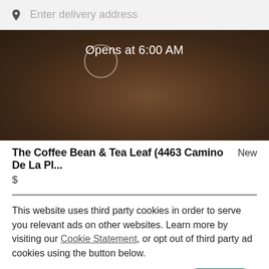Enter delivery address
[Figure (photo): Hero image of a coffee shop / bakery item with dark overlay, showing 'Opens at 6:00 AM' text centered over the image]
Opens at 6:00 AM
The Coffee Bean & Tea Leaf (4463 Camino De La Pl...   New
$
This website uses third party cookies in order to serve you relevant ads on other websites. Learn more by visiting our Cookie Statement, or opt out of third party ad cookies using the button below.
OPT OUT
GOT IT